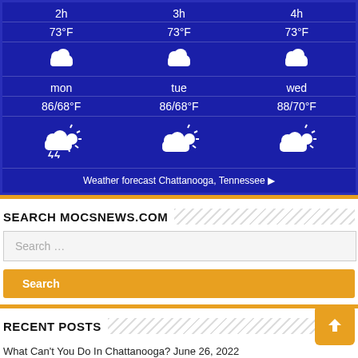[Figure (infographic): Weather forecast widget for Chattanooga, Tennessee showing hourly and daily forecasts on a dark blue background. Hours 2h, 3h, 4h each at 73°F with cloud icons. Days mon 86/68°F, tue 86/68°F, wed 88/70°F with partly cloudy/storm icons.]
SEARCH MOCSNEWS.COM
Search ...
Search
RECENT POSTS
What Can't You Do In Chattanooga? June 26, 2022